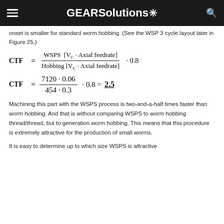GEARSolutions
onset is smaller for standard worm hobbing. (See the WSP 3 cycle layout later in Figure 25.)
Machining this part with the WSPS process is two-and-a-half times faster than worm hobbing. And that is without comparing WSPS to worm hobbing thread/thread, but to generation worm hobbing. This means that this procedure is extremely attractive for the production of small worms.
It is easy to determine up to which size WSPS is attractive